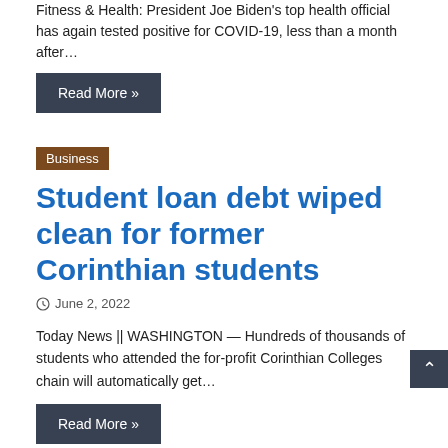Fitness & Health: President Joe Biden's top health official has again tested positive for COVID-19, less than a month after…
Read More »
Business
Student loan debt wiped clean for former Corinthian students
June 2, 2022
Today News || WASHINGTON — Hundreds of thousands of students who attended the for-profit Corinthian Colleges chain will automatically get…
Read More »
Health
Harris, surgeon general, warn of